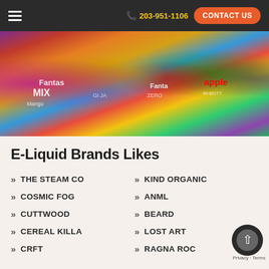203-951-1106  CONTACT US
[Figure (photo): Colorful e-liquid and beverage bottles displayed on a surface, including Fanta-branded and other flavored drink bottles in various colors.]
E-Liquid Brands Likes
THE STEAM CO
KIND ORGANIC
COSMIC FOG
ANML
CUTTWOOD
BEARD
CEREAL KILLA
LOST ART
CRFT
RAGNA ROC